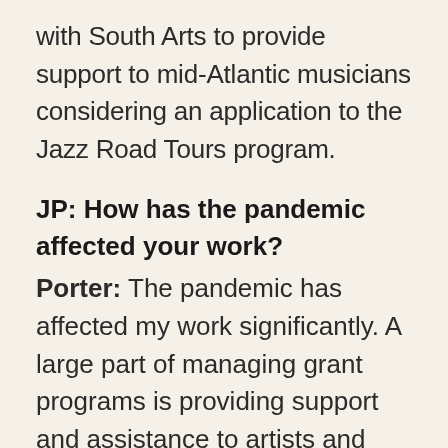with South Arts to provide support to mid-Atlantic musicians considering an application to the Jazz Road Tours program.
JP: How has the pandemic affected your work?
Porter: The pandemic has affected my work significantly. A large part of managing grant programs is providing support and assistance to artists and organizations seeking funding and including general assistance to navigate the arts funding landscape. During the pandemic, the nature of those conversations has changed dramatically—